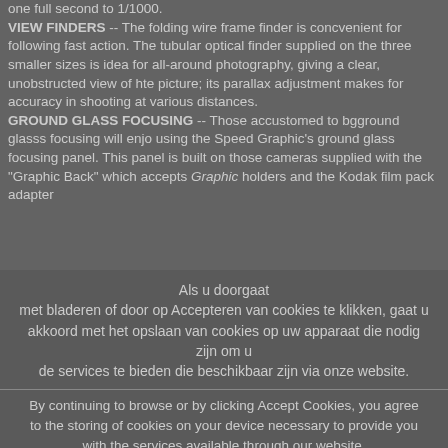one full second to 1/1000. VIEW FINDERS -- The folding wire frame finder is concvenient for following fast action. The tubular optical finder supplied on the three smaller sizes is idea for all-around photography, giving a clear, unobstructed view of hte picture; its parallax adjustment makes for accuracy in shooting at various distances. GROUND GLASS FOCUSING -- Those accustomed to bgground glasss focusing will enjo using the Speed Graphic's ground glass focusing panel. This panel is built on those cameras supplied with the "Graphic Back" which accepts Graphic holders and the Kodak film pack adapter
Als u doorgaat met bladeren of door op Accepteren van cookies te klikken, gaat u akkoord met het opslaan van cookies op uw apparaat die nodig zijn om u de services te bieden die beschikbaar zijn via onze website.
By continuing to browse or by clicking Accept Cookies, you agree to the storing of cookies on your device necessary to provide you with the services available through our website.
OK   Privacy & Cookie Policy